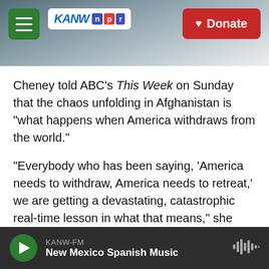[Figure (screenshot): KANW NPR radio station header banner with mountain background, hamburger menu button (green), KANW NPR logo, and red Donate button with heart icon.]
Cheney told ABC's This Week on Sunday that the chaos unfolding in Afghanistan is "what happens when America withdraws from the world."
"Everybody who has been saying, 'America needs to withdraw, America needs to retreat,' we are getting a devastating, catastrophic real-time lesson in what that means," she said.
She added that while she holds Biden responsible for the decision to withdraw, she also believes officials from the Trump administration, including
KANW-FM New Mexico Spanish Music